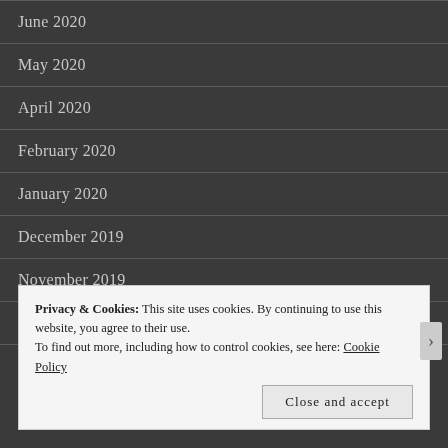June 2020
May 2020
April 2020
February 2020
January 2020
December 2019
November 2019
October 2019
September 2019
Privacy & Cookies: This site uses cookies. By continuing to use this website, you agree to their use.
To find out more, including how to control cookies, see here: Cookie Policy
Close and accept